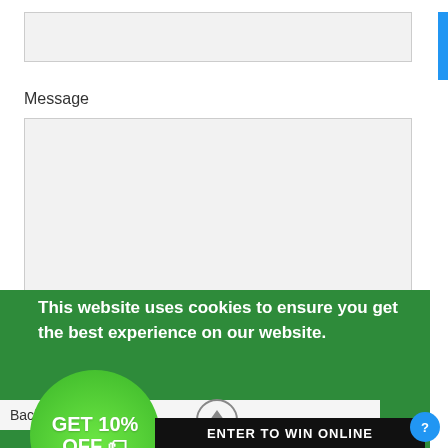[Figure (screenshot): A web form input field (text box) at the top of the page, light gray background with border]
Message
[Figure (screenshot): A large text area input field for message entry, gray background with resize handle]
Please note, comments must be approved before they are
[Figure (screenshot): Green cookie consent banner overlay with text 'This website uses cookies to ensure you get the best experience on our website.' and a 'Got it!' black button. Also shows a green circle badge with 'GET 10% OFF' text and an up-arrow scroll button.]